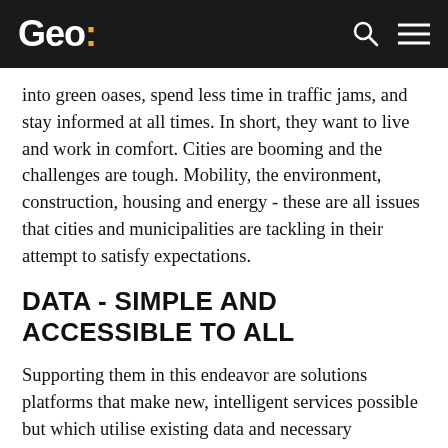Geo:
into green oases, spend less time in traffic jams, and stay informed at all times. In short, they want to live and work in comfort. Cities are booming and the challenges are tough. Mobility, the environment, construction, housing and energy - these are all issues that cities and municipalities are tackling in their attempt to satisfy expectations.
DATA - SIMPLE AND ACCESSIBLE TO ALL
Supporting them in this endeavor are solutions platforms that make new, intelligent services possible but which utilise existing data and necessary extensions. Such platforms for smart cities are accessible to all municipal departments, can be shared with other solution providers, and are always available - on tablet or smartphone, with one click. Data is no